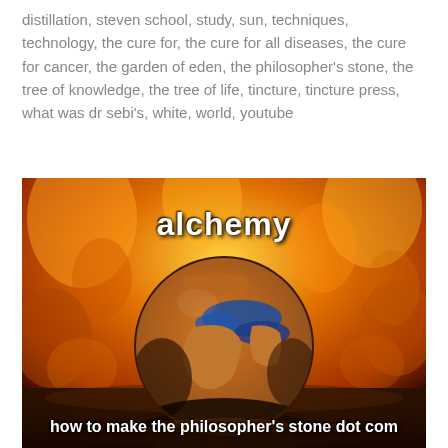distillation, steven school, study, sun, techniques, technology, the cure for, the cure for all diseases, the cure for cancer, the garden of eden, the philosopher's stone, the tree of knowledge, the tree of life, tincture, tincture press, what was dr sebi's, white, world, youtube
[Figure (illustration): A dramatic image with fiery background showing a globe (Earth centered on Europe, Africa, Middle East) rising from water, with the text 'alchemy' in white bold at the top and 'how to make the philosopher's stone dot com' in white bold at the bottom.]